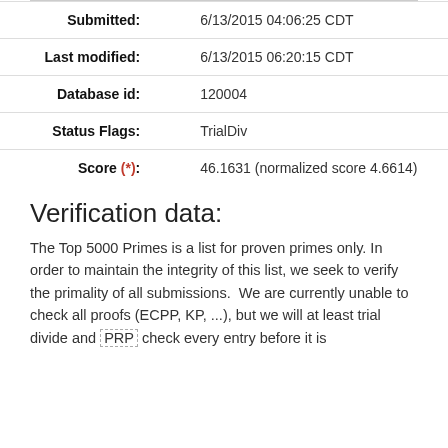| Field | Value |
| --- | --- |
| Submitted: | 6/13/2015 04:06:25 CDT |
| Last modified: | 6/13/2015 06:20:15 CDT |
| Database id: | 120004 |
| Status Flags: | TrialDiv |
| Score (*): | 46.1631 (normalized score 4.6614) |
Verification data:
The Top 5000 Primes is a list for proven primes only. In order to maintain the integrity of this list, we seek to verify the primality of all submissions.  We are currently unable to check all proofs (ECPP, KP, ...), but we will at least trial divide and PRP check every entry before it is